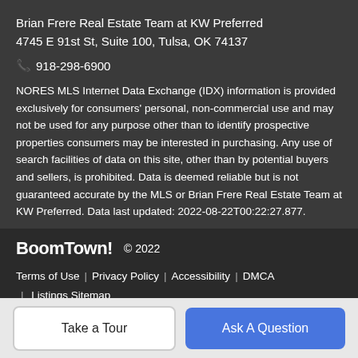Brian Frere Real Estate Team at KW Preferred
4745 E 91st St, Suite 100, Tulsa, OK 74137
📞 918-298-6900
NORES MLS Internet Data Exchange (IDX) information is provided exclusively for consumers' personal, non-commercial use and may not be used for any purpose other than to identify prospective properties consumers may be interested in purchasing. Any use of search facilities of data on this site, other than by potential buyers and sellers, is prohibited. Data is deemed reliable but is not guaranteed accurate by the MLS or Brian Frere Real Estate Team at KW Preferred. Data last updated: 2022-08-22T00:22:27.877.
BoomTown! © 2022
Terms of Use | Privacy Policy | Accessibility | DMCA | Listings Sitemap
Take a Tour
Ask A Question